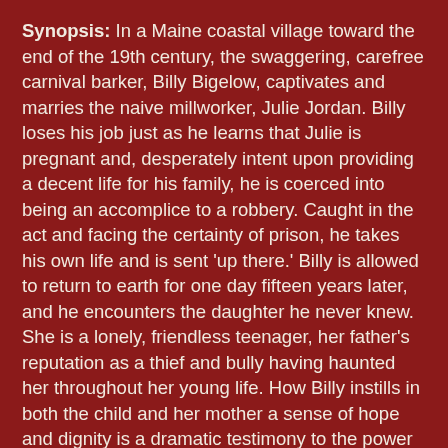Synopsis: In a Maine coastal village toward the end of the 19th century, the swaggering, carefree carnival barker, Billy Bigelow, captivates and marries the naive millworker, Julie Jordan. Billy loses his job just as he learns that Julie is pregnant and, desperately intent upon providing a decent life for his family, he is coerced into being an accomplice to a robbery. Caught in the act and facing the certainty of prison, he takes his own life and is sent 'up there.' Billy is allowed to return to earth for one day fifteen years later, and he encounters the daughter he never knew. She is a lonely, friendless teenager, her father's reputation as a thief and bully having haunted her throughout her young life. How Billy instills in both the child and her mother a sense of hope and dignity is a dramatic testimony to the power of love. It's easy to understand why, of all the shows they created, CAROUSEL was Rodgers & Hammerstein's personal favorite.
Community Theater:
That Theatre Co. opens their production of Macbeth on July